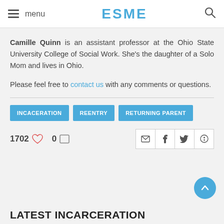menu ESME
Camille Quinn is an assistant professor at the Ohio State University College of Social Work. She's the daughter of a Solo Mom and lives in Ohio.
Please feel free to contact us with any comments or questions.
INCACERATION
REENTRY
RETURNING PARENT
1702 ♥  0 ☐
LATEST INCARCERATION